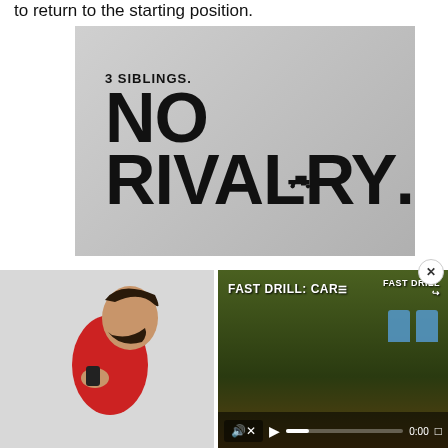to return to the starting position.
[Figure (photo): Advertisement image with gray gradient background showing bold text: '3 SIBLINGS. NO RIVALRY.' with a small gun silhouette icon]
[Figure (photo): Photo of a man in profile view wearing a red polo shirt, holding something near his shoulder/chin area, against a light gray background]
[Figure (screenshot): Video player thumbnail showing 'FAST DRILL: CAR' title text with shooting targets visible, video controls at bottom showing muted audio, play button, progress bar at 0:00, and fullscreen button. Top right shows 'FAST DRILL' and share button.]